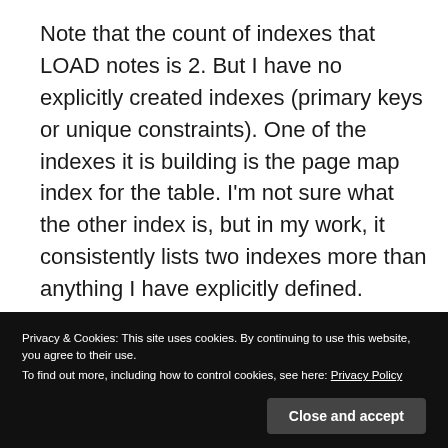Note that the count of indexes that LOAD notes is 2. But I have no explicitly created indexes (primary keys or unique constraints). One of the indexes it is building is the page map index for the table. I'm not sure what the other index is, but in my work, it consistently lists two indexes more than anything I have explicitly defined.
Privacy & Cookies: This site uses cookies. By continuing to use this website, you agree to their use. To find out more, including how to control cookies, see here: Privacy Policy
extreme difference for load from pipe. I though